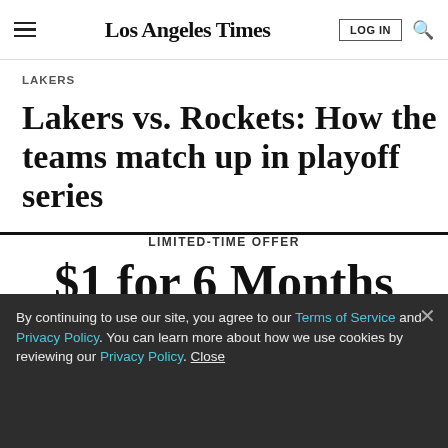Los Angeles Times
LAKERS
Lakers vs. Rockets: How the teams match up in playoff series
LIMITED-TIME OFFER
$1 for 6 Months
SUBSCRIBE NOW
By continuing to use our site, you agree to our Terms of Service and Privacy Policy. You can learn more about how we use cookies by reviewing our Privacy Policy. Close